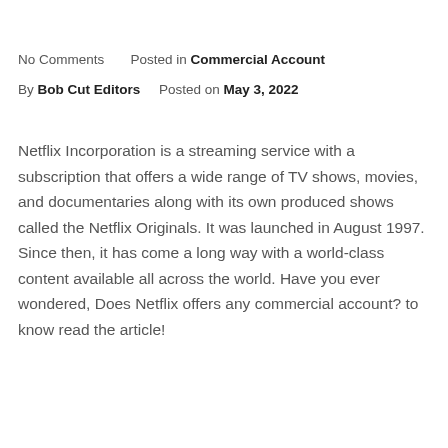No Comments      Posted in Commercial Account
By Bob Cut Editors      Posted on May 3, 2022
Netflix Incorporation is a streaming service with a subscription that offers a wide range of TV shows, movies, and documentaries along with its own produced shows called the Netflix Originals. It was launched in August 1997. Since then, it has come a long way with a world-class content available all across the world. Have you ever wondered, Does Netflix offers any commercial account? to know read the article!